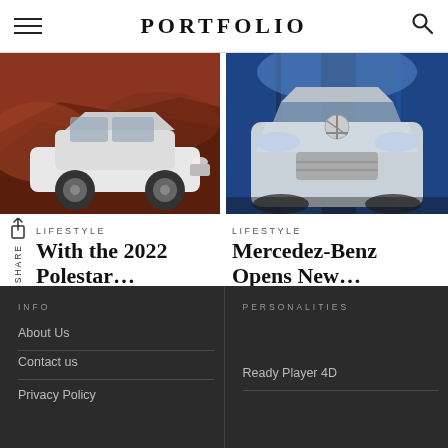PORTFOLIO
[Figure (photo): White Polestar sedan parked against red clay/rock terrain background]
[Figure (photo): Mercedes-Benz EQS silver car front view against blue draped backdrop]
LIFESTYLE
With the 2022 Polestar…
LIFESTYLE
Mercedez-Benz Opens New…
INFO | About Us | Contact us | Privacy Policy | PERSONALITIES | Ready Player 4D